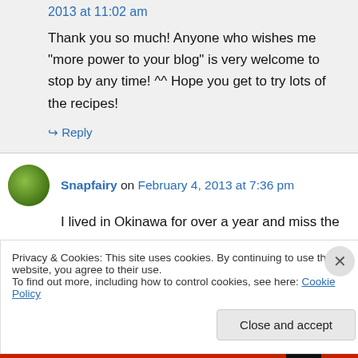2013 at 11:02 am
Thank you so much! Anyone who wishes me “more power to your blog” is very welcome to stop by any time! ^^ Hope you get to try lots of the recipes!
→ Reply
Snapfairy on February 4, 2013 at 7:36 pm
I lived in Okinawa for over a year and miss the
Privacy & Cookies: This site uses cookies. By continuing to use this website, you agree to their use.
To find out more, including how to control cookies, see here: Cookie Policy
Close and accept